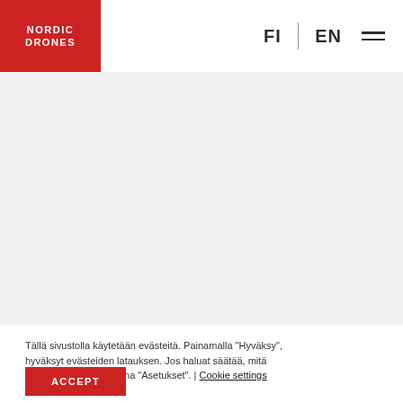[Figure (logo): Nordic Drones logo — white text on red background square]
FI | EN ☰
[Figure (photo): Large grey content area placeholder]
Tällä sivustolla käytetään evästeitä. Painamalla "Hyväksy", hyväksyt evästeiden latauksen. Jos haluat säätää, mitä evästeitä ladataan, paina "Asetukset". | Cookie settings
ACCEPT